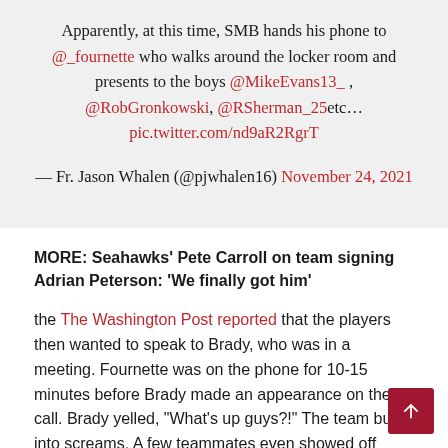Apparently, at this time, SMB hands his phone to @_fournette who walks around the locker room and presents to the boys @MikeEvans13_ , @RobGronkowski, @RSherman_25etc… pic.twitter.com/nd9aR2RgrT
— Fr. Jason Whalen (@pjwhalen16) November 24, 2021
MORE: Seahawks' Pete Carroll on team signing Adrian Peterson: 'We finally got him'
the The Washington Post reported that the players then wanted to speak to Brady, who was in a meeting. Fournette was on the phone for 10-15 minutes before Brady made an appearance on the call. Brady yelled, "What's up guys?!" The team burst into screams. A few teammates even showed off